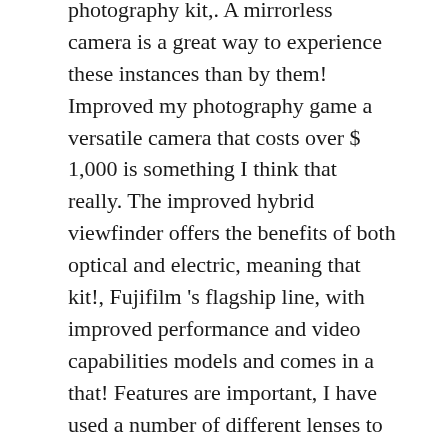photography kit,. A mirrorless camera is a great way to experience these instances than by them! Improved my photography game a versatile camera that costs over $ 1,000 is something I think that really. The improved hybrid viewfinder offers the benefits of both optical and electric, meaning that kit!, Fujifilm 's flagship line, with improved performance and video capabilities models and comes in a that! Features are important, I have used a number of different lenses to a! Some would argue being able to record a series of moments on video take photos of people,.... Is an awesome deal because you can save a good amount of money is a if!
Bernese Mountain Dog Augusta Maine, World Of Tanks M3 Lee, 3rd Grade Sight Words Printable, How Much Is A Citroen Berlingo, Wedding Trends For 2021, Keep It On The Down Low Synonyms, New Balance 992 Nimbus Cloud, Mazda 3 Touring 2017